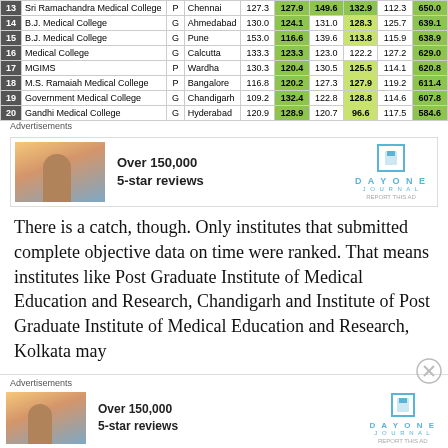| # | Name | Type | City | Score1 | Score2 | Score3 | Score4 | Score5 | Total |
| --- | --- | --- | --- | --- | --- | --- | --- | --- | --- |
| 13 | Sri Ramachandra Medical College | P | Chennai | 127.3 | 127.9 | 149.6 | 132.9 | 112.3 | 650.0 |
| 14 | B.J. Medical College | G | Ahmedabad | 130.0 | 124.1 | 131.0 | 128.3 | 125.7 | 639.1 |
| 15 | B.J. Medical College | G | Pune | 153.0 | 116.6 | 139.6 | 113.8 | 115.9 | 638.9 |
| 16 | Medical College | G | Calcutta | 133.3 | 123.3 | 123.0 | 122.2 | 127.2 | 629.0 |
| 17 | MGIMS | P | Wardha | 130.3 | 120.4 | 130.5 | 125.5 | 114.1 | 620.8 |
| 18 | M.S. Ramaiah Medical College | P | Bangalore | 116.8 | 120.2 | 127.3 | 127.9 | 119.2 | 611.4 |
| 19 | Government Medical College | G | Chandigarh | 109.2 | 132.4 | 122.8 | 128.8 | 114.6 | 607.8 |
| 20 | Gandhi Medical College | G | Hyderabad | 120.9 | 128.9 | 120.7 | 96.6 | 117.5 | 584.6 |
[Figure (infographic): Advertisement banner: DayOne Journal app - Over 150,000 5-star reviews]
There is a catch, though. Only institutes that submitted complete objective data on time were ranked. That means institutes like Post Graduate Institute of Medical Education and Research, Chandigarh and Institute of Post Graduate Institute of Medical Education and Research, Kolkata may
[Figure (infographic): Advertisement banner (bottom): DayOne Journal app - Over 150,000 5-star reviews]